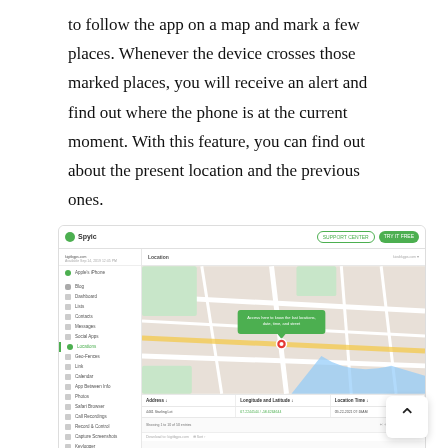to follow the app on a map and mark a few places. Whenever the device crosses those marked places, you will receive an alert and find out where the phone is at the current moment. With this feature, you can find out about the present location and the previous ones.
[Figure (screenshot): Screenshot of a Spyic-like parental monitoring app showing a Location tracking page with a map view, sidebar navigation, and a data table below the map showing Address, Longitude and Latitude, and Location Time columns.]
In case you want to keep track of all the activities related to your kid's phone, this application is the best solution. You can find out about Facebook, Instagram, Snapchat, Skype, Twitter, and other